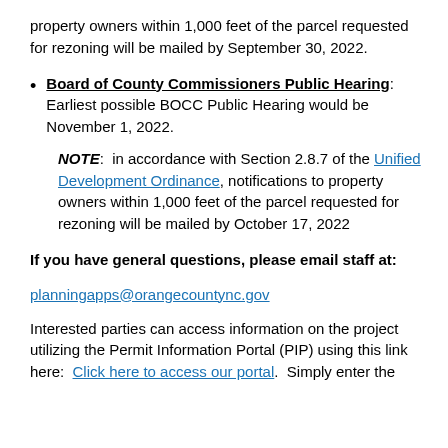property owners within 1,000 feet of the parcel requested for rezoning will be mailed by September 30, 2022.
Board of County Commissioners Public Hearing: Earliest possible BOCC Public Hearing would be November 1, 2022.
NOTE: in accordance with Section 2.8.7 of the Unified Development Ordinance, notifications to property owners within 1,000 feet of the parcel requested for rezoning will be mailed by October 17, 2022
If you have general questions, please email staff at: planningapps@orangecountync.gov
Interested parties can access information on the project utilizing the Permit Information Portal (PIP) using this link here: Click here to access our portal. Simply enter the